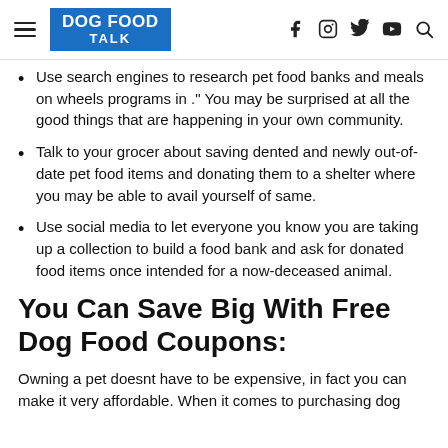DOG FOOD TALK
Use search engines to research pet food banks and meals on wheels programs in ." You may be surprised at all the good things that are happening in your own community.
Talk to your grocer about saving dented and newly out-of-date pet food items and donating them to a shelter where you may be able to avail yourself of same.
Use social media to let everyone you know you are taking up a collection to build a food bank and ask for donated food items once intended for a now-deceased animal.
You Can Save Big With Free Dog Food Coupons:
Owning a pet doesnt have to be expensive, in fact you can make it very affordable. When it comes to purchasing dog